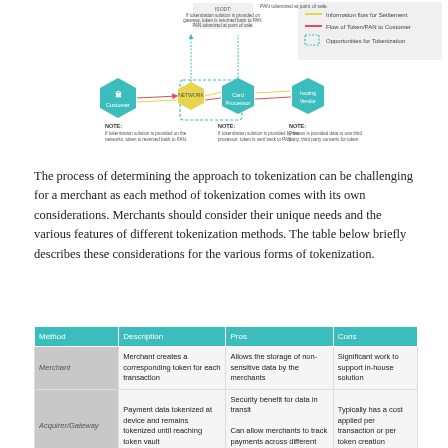[Figure (flowchart): Tokenization flow diagram showing Customer, Networks, Card Processor, and Issuing/Vendor nodes with arrows indicating information flow for settlement, flow of token/PAN to customer, and opportunities for tokenization. Includes a legend and NOTE callouts below each node.]
The process of determining the approach to tokenization can be challenging for a merchant as each method of tokenization comes with its own considerations. Merchants should consider their unique needs and the various features of different tokenization methods. The table below briefly describes these considerations for the various forms of tokenization.
| Method | Description | Pros | Cons |
| --- | --- | --- | --- |
| Merchant | Merchant creates a corresponding token for each transaction | Allows the storage of non-sensitive data by the merchants | Significant work to support in-house solution |
| Acquirer/Gateway | Payment data tokenized at device and remains tokenized until reaching token vault | Security benefit for data in transit
Can allow merchants to track payments across different payment channels | Typically has a cost applied per transaction or per token creation |